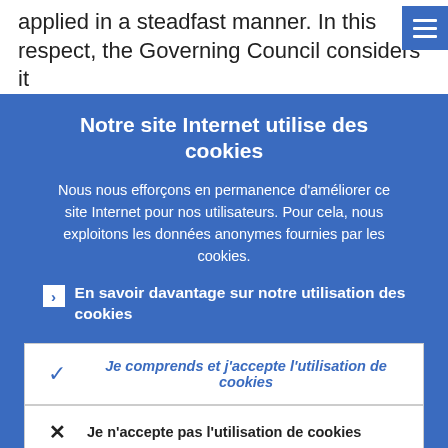applied in a steadfast manner. In this respect, the Governing Council considers it
Notre site Internet utilise des cookies
Nous nous efforçons en permanence d'améliorer ce site Internet pour nos utilisateurs. Pour cela, nous exploitons les données anonymes fournies par les cookies.
En savoir davantage sur notre utilisation des cookies
Je comprends et j'accepte l'utilisation de cookies
Je n'accepte pas l'utilisation de cookies